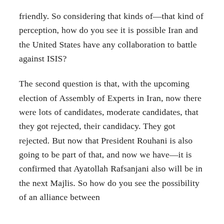friendly. So considering that kinds of—that kind of perception, how do you see it is possible Iran and the United States have any collaboration to battle against ISIS?
The second question is that, with the upcoming election of Assembly of Experts in Iran, now there were lots of candidates, moderate candidates, that they got rejected, their candidacy. They got rejected. But now that President Rouhani is also going to be part of that, and now we have—it is confirmed that Ayatollah Rafsanjani also will be in the next Majlis. So how do you see the possibility of an alliance between